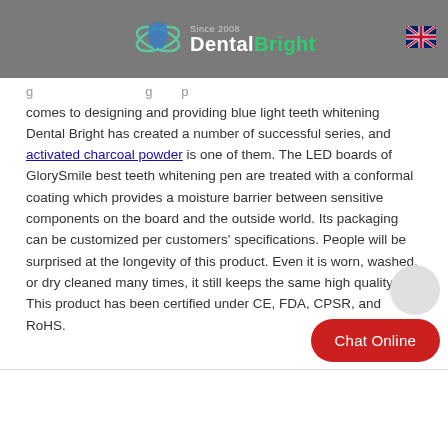DentalBright - Since 2008
comes to designing and providing blue light teeth whitening Dental Bright has created a number of successful series, and activated charcoal powder is one of them. The LED boards of GlorySmile best teeth whitening pen are treated with a conformal coating which provides a moisture barrier between sensitive components on the board and the outside world. Its packaging can be customized per customers' specifications. People will be surprised at the longevity of this product. Even it is worn, washed, or dry cleaned many times, it still keeps the same high quality. This product has been certified under CE, FDA, CPSR, and RoHS.
[Figure (other): Chat Online button with circular chat bubble icon, red rounded rectangle button with white text]